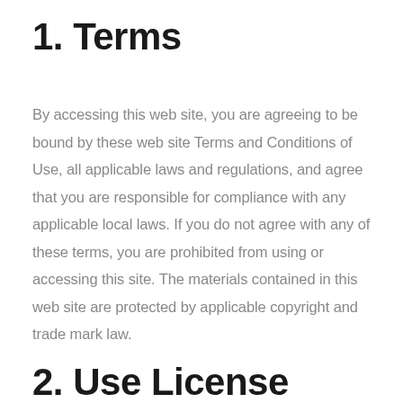1. Terms
By accessing this web site, you are agreeing to be bound by these web site Terms and Conditions of Use, all applicable laws and regulations, and agree that you are responsible for compliance with any applicable local laws. If you do not agree with any of these terms, you are prohibited from using or accessing this site. The materials contained in this web site are protected by applicable copyright and trade mark law.
2. Use License